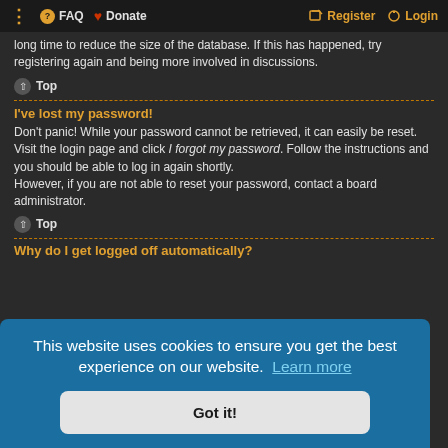⋮  FAQ  ♥ Donate    Register  Login
long time to reduce the size of the database. If this has happened, try registering again and being more involved in discussions.
Top
I've lost my password!
Don't panic! While your password cannot be retrieved, it can easily be reset. Visit the login page and click I forgot my password. Follow the instructions and you should be able to log in again shortly.
However, if you are not able to reset your password, contact a board administrator.
Top
Why do I get logged off automatically?
will only ount by gin. This e.g. s
This website uses cookies to ensure you get the best experience on our website. Learn more
Got it!